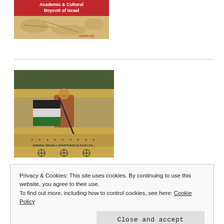[Figure (illustration): USACBI Academic & Cultural Boycott of Israel banner/logo image with red header text and golden-tan illustrated background showing maps and imagery, with usacbi.org URL at bottom right]
[Figure (illustration): Poster showing a child holding a Palestinian flag in front of a crowd, with text 'ENDING ISRAELI APARTHEID IS EASY AS...' and three crosshair/target symbols below labeled with targets]
Privacy & Cookies: This site uses cookies. By continuing to use this website, you agree to their use.
To find out more, including how to control cookies, see here: Cookie Policy
Close and accept